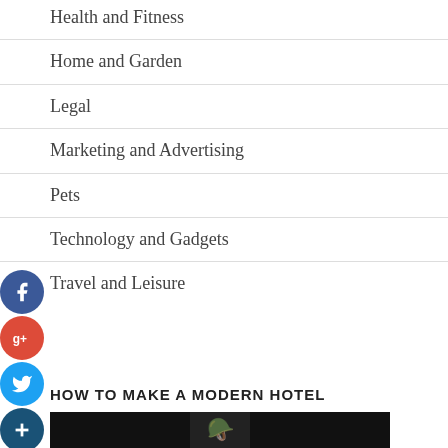Health and Fitness
Home and Garden
Legal
Marketing and Advertising
Pets
Technology and Gadgets
Travel and Leisure
[Figure (other): Social media share buttons: Facebook, Google+, Twitter, and a plus/more button, stacked vertically on the left side]
HOW TO MAKE A MODERN HOTEL
[Figure (photo): Thumbnail image with dark background showing a hard hat icon]